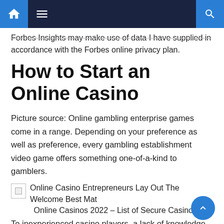Navigation bar with home, menu, and search icons
Forbes Insights may make use of data I have supplied in accordance with the Forbes online privacy plan.
How to Start an Online Casino
Picture source: Online gambling enterprise games come in a range. Depending on your preference as well as preference, every gambling establishment video game offers something one-of-a-kind to gamblers.
[Figure (photo): Broken image placeholder with caption: Online Casino Entrepreneurs Lay Out The Welcome Best Mat]
Online Casinos 2022 – List of Secure Casino Sites
To inexperienced casino players, a lack of knowledge about a fruit machine video game or casino poker can be costly, especially when playing with actual money. This message will